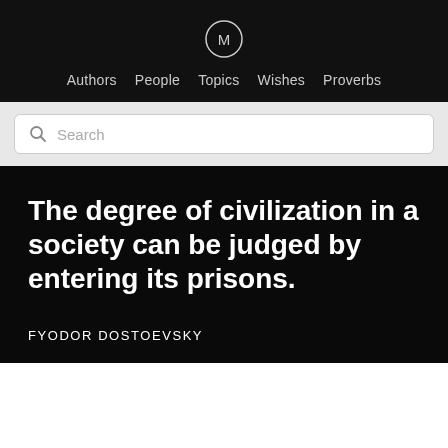M — Authors  People  Topics  Wishes  Proverbs
Search
The degree of civilization in a society can be judged by entering its prisons.
FYODOR DOSTOEVSKY